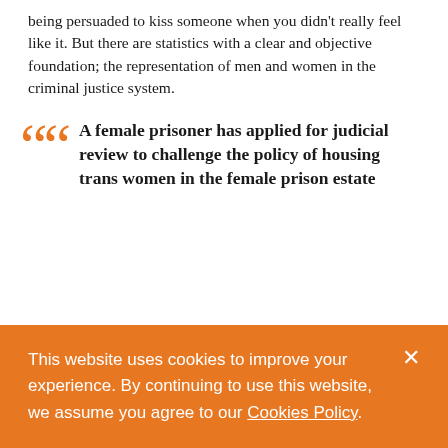being persuaded to kiss someone when you didn't really feel like it. But there are statistics with a clear and objective foundation; the representation of men and women in the criminal justice system.
A female prisoner has applied for judicial review to challenge the policy of housing trans women in the female prison estate
This website uses cookies to improve your experience. By continuing to use this website, we assume you agree to our Cookies Policy.